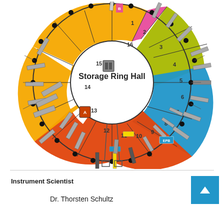[Figure (schematic): Circular diagram of a Storage Ring Hall showing numbered beamline sectors (1-16) arranged in a ring. Sectors are color-coded: yellow-orange (sectors 12-15), orange-red (sectors 9-12), blue (sectors 4-8), olive/yellow-green (sectors 1-4, 16). Black dots indicate beamline ports. Various instrument components shown as gray rectangles. Center of ring labeled 'Storage Ring Hall'.]
Instrument Scientist
Dr. Thorsten Schultz